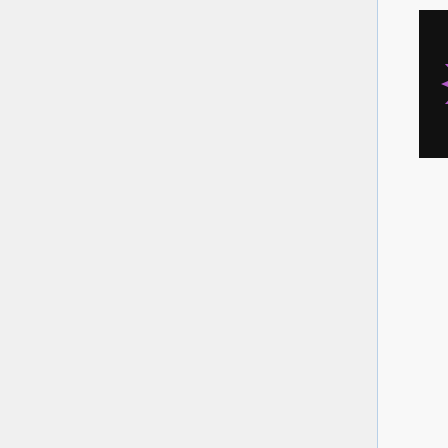[Figure (illustration): Dark circular game icon showing a ring of purple/pink spike shapes or arrows arranged in a circle on a black background, representing a skill or ability icon.]
| Description |
| --- |
| Your undead bones are very resilient, reducing the duration of all detrimental effects on you by 10–41.7%cTL:100

Note: the duration reduction is rounded down. An effect with duration 2 will still generally have duration 2 after resilient bones at 40% is applied |